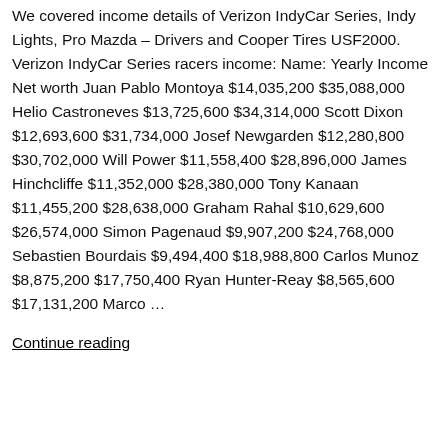We covered income details of Verizon IndyCar Series, Indy Lights, Pro Mazda – Drivers and Cooper Tires USF2000. Verizon IndyCar Series racers income: Name: Yearly Income Net worth Juan Pablo Montoya $14,035,200 $35,088,000 Helio Castroneves $13,725,600 $34,314,000 Scott Dixon $12,693,600 $31,734,000 Josef Newgarden $12,280,800 $30,702,000 Will Power $11,558,400 $28,896,000 James Hinchcliffe $11,352,000 $28,380,000 Tony Kanaan $11,455,200 $28,638,000 Graham Rahal $10,629,600 $26,574,000 Simon Pagenaud $9,907,200 $24,768,000 Sebastien Bourdais $9,494,400 $18,988,800 Carlos Munoz $8,875,200 $17,750,400 Ryan Hunter-Reay $8,565,600 $17,131,200 Marco …
Continue reading